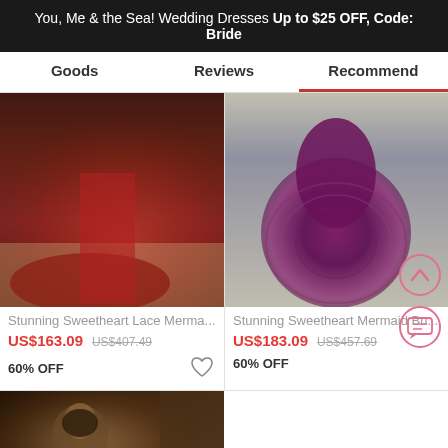You, Me & the Sea! Wedding Dresses Up to $25 OFF, Code: Bride
Goods | Reviews | Recommend
[Figure (photo): Product photo of a dark red/burgundy mermaid lace gown trailing on a wooden floor]
[Figure (photo): Product photo of a purple ruffled mermaid ball gown on pavement]
Stunning Sweetheart Lace Merma...
Stunning Sweetheart Mermaid Bu...
US$163.09  US$407.49
60% OFF
US$183.09  US$457.69
60% OFF
[Figure (photo): Product photo of a woman wearing a black lace dress outdoors]
Get $5 off for your first order!
CLAIM NOW
ADD TO BAG